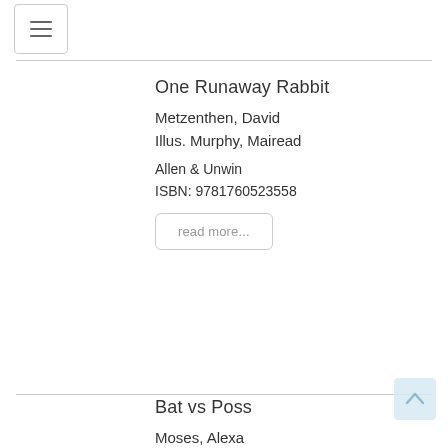≡
One Runaway Rabbit
Metzenthen, David
Illus. Murphy, Mairead
Allen & Unwin
ISBN: 9781760523558
read more...
Bat vs Poss
Moses, Alexa
Illus. Tortop, Anil